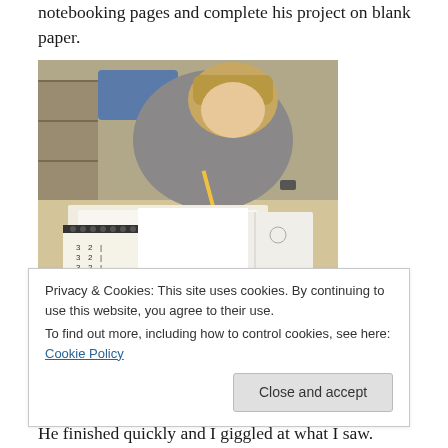notebooking pages and complete his project on blank paper.
[Figure (photo): A child leaning over a desk writing with a pencil on blank paper, with a spiral-bound Rube Goldberg notebooking workbook and an open illustrated book visible on the desk.]
Privacy & Cookies: This site uses cookies. By continuing to use this website, you agree to their use.
To find out more, including how to control cookies, see here: Cookie Policy
He finished quickly and I giggled at what I saw.